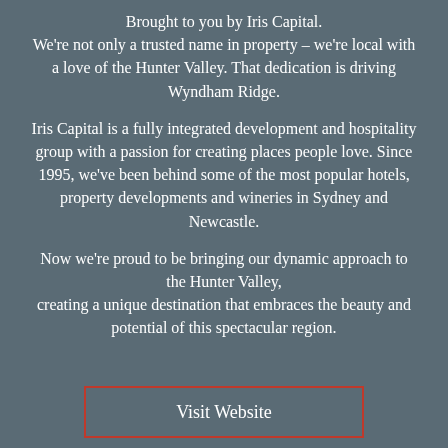Brought to you by Iris Capital.
We're not only a trusted name in property – we're local with a love of the Hunter Valley. That dedication is driving Wyndham Ridge.
Iris Capital is a fully integrated development and hospitality group with a passion for creating places people love. Since 1995, we've been behind some of the most popular hotels, property developments and wineries in Sydney and Newcastle.
Now we're proud to be bringing our dynamic approach to the Hunter Valley, creating a unique destination that embraces the beauty and potential of this spectacular region.
Visit Website